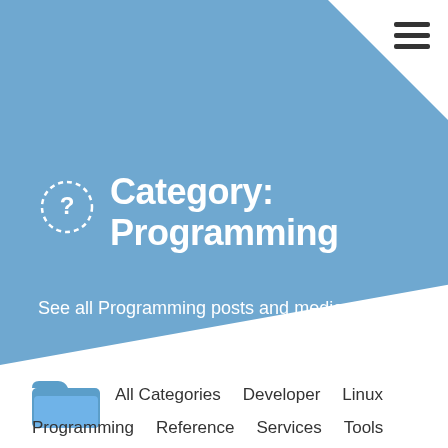[Figure (illustration): Blue diagonal banner background with white corner cut-out in top-right]
[Figure (other): Hamburger menu icon (three horizontal lines) in top-right corner]
Category: Programming
See all Programming posts and media.
[Figure (logo): Blue open folder icon]
All Categories   Developer   Linux
Programming   Reference   Services   Tools